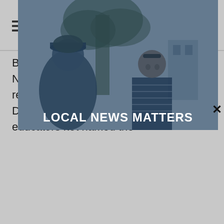≡  DONATE
But other district records show his November 2016 departure followed reports he'd been in a relationship with a Del Norte High student. Two former educators not named the
[Figure (photo): Two people in conversation outdoors near a tree, with a blue overlay tint. A man in a baseball cap faces away from camera toward a woman with sunglasses on her head wearing a striped shirt. The caption reads LOCAL NEWS MATTERS.]